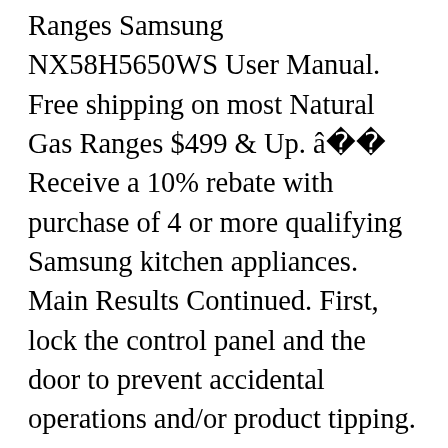Ranges Samsung NX58H5650WS User Manual. Free shipping on most Natural Gas Ranges $499 & Up. â Receive a 10% rebate with purchase of 4 or more qualifying Samsung kitchen appliances. Main Results Continued. First, lock the control panel and the door to prevent accidental operations and/or product tipping. All rights reserved. Free kitchen appliance user manuals, instructions, and product support information. Samsung pays for Premium Care during this period. This refurbished product is tested and certified to look and work like new. The user manual file for model NX58K7850S * Gas oven. 3. Do not spray cleansers directly onto the control panel. 5. We also have installation guides,